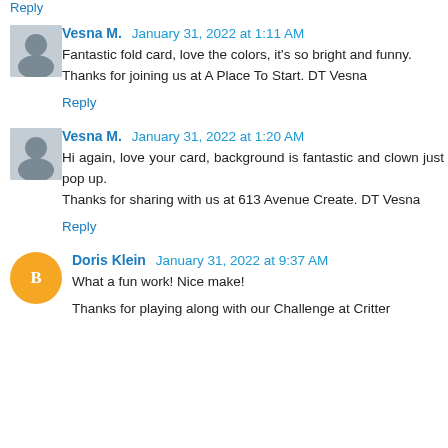Reply
Vesna M. January 31, 2022 at 1:11 AM
Fantastic fold card, love the colors, it's so bright and funny. Thanks for joining us at A Place To Start. DT Vesna
Reply
Vesna M. January 31, 2022 at 1:20 AM
Hi again, love your card, background is fantastic and clown just pop up.
Thanks for sharing with us at 613 Avenue Create. DT Vesna
Reply
Doris Klein January 31, 2022 at 9:37 AM
What a fun work! Nice make!
Thanks for playing along with our Challenge at Critter